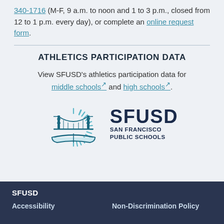340-1716 (M-F, 9 a.m. to noon and 1 to 3 p.m., closed from 12 to 1 p.m. every day), or complete an online request form.
ATHLETICS PARTICIPATION DATA
View SFUSD's athletics participation data for middle schools and high schools.
[Figure (logo): SFUSD San Francisco Public Schools logo featuring a stylized Golden Gate Bridge with a rising sun and an open book, alongside the text SFUSD SAN FRANCISCO PUBLIC SCHOOLS]
SFUSD
Accessibility    Non-Discrimination Policy